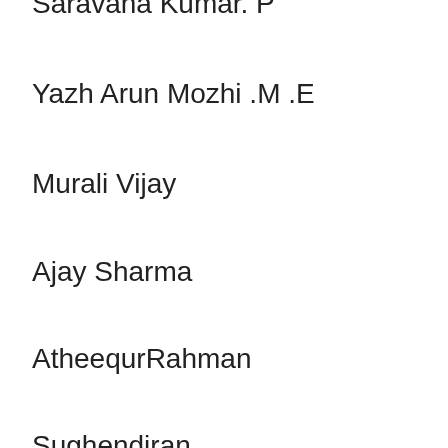Saravana Kumar. P
Yazh Arun Mozhi .M .E
Murali Vijay
Ajay Sharma
AtheequrRahman
Sughendiran
Sanjay MS
Gokulmoorthy
BoopathiVaishna Kumar